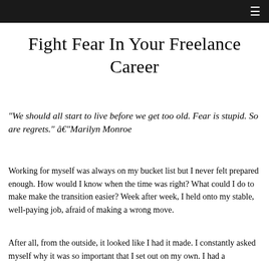≡
Fight Fear In Your Freelance Career
“We should all start to live before we get too old. Fear is stupid. So are regrets.” â€“Marilyn Monroe
Working for myself was always on my bucket list but I never felt prepared enough. How would I know when the time was right? What could I do to make make the transition easier? Week after week, I held onto my stable, well-paying job, afraid of making a wrong move.
After all, from the outside, it looked like I had it made. I constantly asked myself why it was so important that I set out on my own. I had a